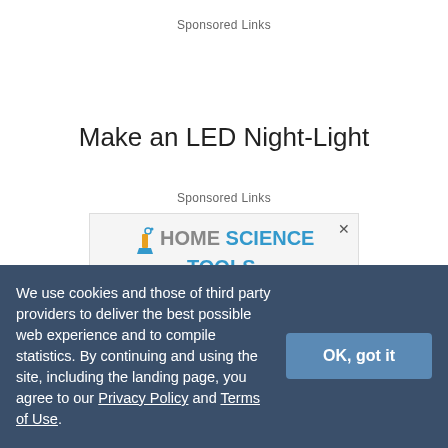Sponsored Links
Make an LED Night-Light
Sponsored Links
[Figure (logo): Home Science Tools - inspired learning logo with beaker icon]
Shop Science Buddies Kits
We use cookies and those of third party providers to deliver the best possible web experience and to compile statistics. By continuing and using the site, including the landing page, you agree to our Privacy Policy and Terms of Use.